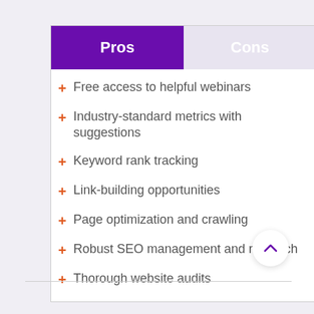| Pros | Cons |
| --- | --- |
| Free access to helpful webinars |  |
| Industry-standard metrics with suggestions |  |
| Keyword rank tracking |  |
| Link-building opportunities |  |
| Page optimization and crawling |  |
| Robust SEO management and research |  |
| Thorough website audits |  |